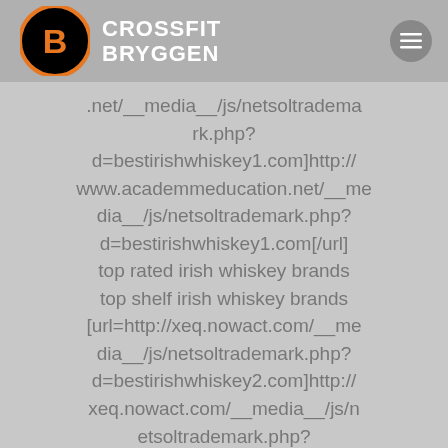CROSSFIT BRYGGEN
.net/__media__/js/netsoltrademark.php?d=bestirishwhiskey1.com]http://www.academmeducation.net/__media__/js/netsoltrademark.php?d=bestirishwhiskey1.com[/url] top rated irish whiskey brands top shelf irish whiskey brands [url=http://xeq.nowact.com/__media__/js/netsoltrademark.php?d=bestirishwhiskey2.com]http://xeq.nowact.com/__media__/js/netsoltrademark.php?d=bestirishwhiskey2.com[/url] top rated irish whiskey best irish whiskey for a gift [url=http://lapse.net/__media__/js/netsoltrademark.php?d=bestirishwhiskey1.com]http://lapse.net/__media__/js/netsoltrad emark.php?d=bestirishwhiskey1.com[/url]